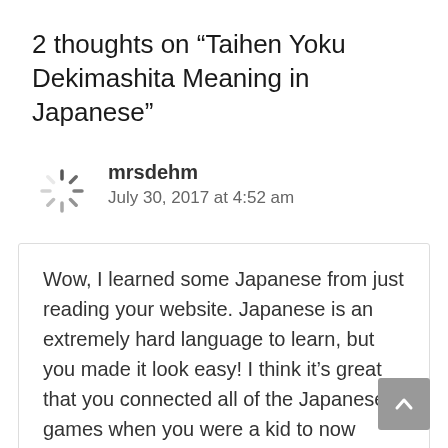2 thoughts on “Taihen Yoku Dekimashita Meaning in Japanese”
mrsdehm
July 30, 2017 at 4:52 am
Wow, I learned some Japanese from just reading your website. Japanese is an extremely hard language to learn, but you made it look easy! I think it’s great that you connected all of the Japanese games when you were a kid to now creating a great informative website about the language! Awesome!